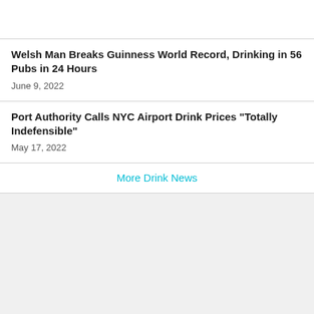Welsh Man Breaks Guinness World Record, Drinking in 56 Pubs in 24 Hours
June 9, 2022
Port Authority Calls NYC Airport Drink Prices "Totally Indefensible"
May 17, 2022
More Drink News